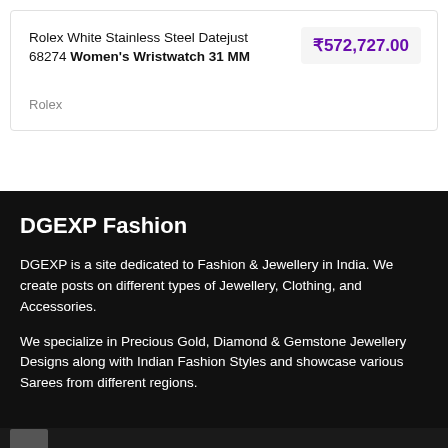Rolex White Stainless Steel Datejust 68274 Women's Wristwatch 31 MM
₹572,727.00
Rolex
DGEXP Fashion
DGEXP is a site dedicated to Fashion & Jewellery in India. We create posts on different types of Jewellery, Clothing, and Accessories.
We specialize in Precious Gold, Diamond & Gemstone Jewellery Designs along with Indian Fashion Styles and showcase various Sarees from different regions.
[Figure (photo): Small thumbnail image partially visible at bottom left]